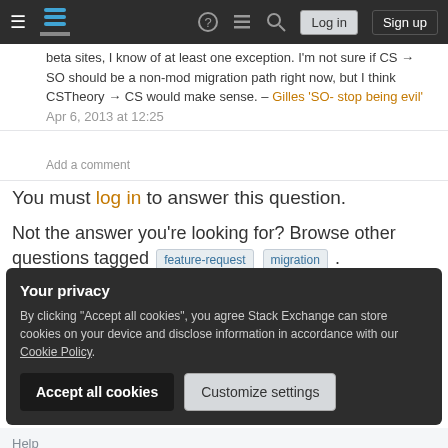Stack Exchange navigation bar with hamburger menu, logo, icons, Log in and Sign up buttons
beta sites, I know of at least one exception. I'm not sure if CS → SO should be a non-mod migration path right now, but I think CSTheory → CS would make sense. – Gilles 'SO- stop being evil' Apr 6, 2013 at 12:25
Add a comment
You must log in to answer this question.
Not the answer you're looking for? Browse other questions tagged feature-request migration .
Your privacy
By clicking "Accept all cookies", you agree Stack Exchange can store cookies on your device and disclose information in accordance with our Cookie Policy.
Accept all cookies
Customize settings
Help